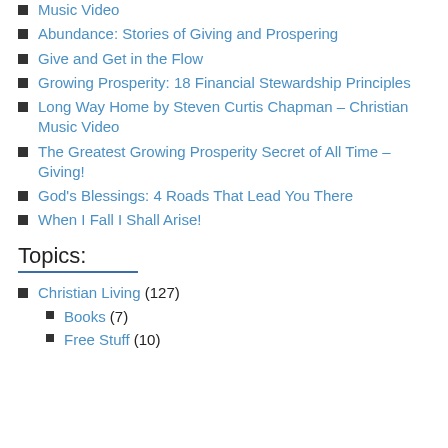Music Video
Abundance: Stories of Giving and Prospering
Give and Get in the Flow
Growing Prosperity: 18 Financial Stewardship Principles
Long Way Home by Steven Curtis Chapman – Christian Music Video
The Greatest Growing Prosperity Secret of All Time – Giving!
God's Blessings: 4 Roads That Lead You There
When I Fall I Shall Arise!
Topics:
Christian Living (127)
Books (7)
Free Stuff (10)